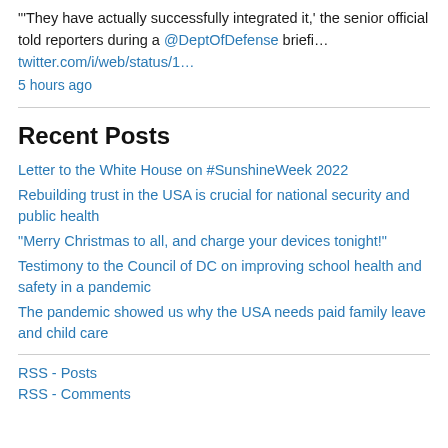"'They have actually successfully integrated it,' the senior official told reporters during a @DeptOfDefense briefi… twitter.com/i/web/status/1…
5 hours ago
Recent Posts
Letter to the White House on #SunshineWeek 2022
Rebuilding trust in the USA is crucial for national security and public health
"Merry Christmas to all, and charge your devices tonight!"
Testimony to the Council of DC on improving school health and safety in a pandemic
The pandemic showed us why the USA needs paid family leave and child care
RSS - Posts
RSS - Comments